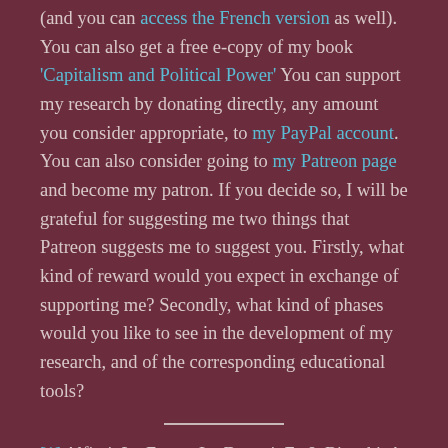(and you can access the French version as well). You can also get a free e-copy of my book 'Capitalism and Political Power' You can support my research by donating directly, any amount you consider appropriate, to my PayPal account. You can also consider going to my Patreon page and become my patron. If you decide so, I will be grateful for suggesting me two things that Patreon suggests me to suggest you. Firstly, what kind of reward would you expect in exchange of supporting me? Secondly, what kind of phases would you like to see in the development of my research, and of the corresponding educational tools?
[1] Alfieri, L., Feyen, L., Dottori, F., & Bianchi, A.